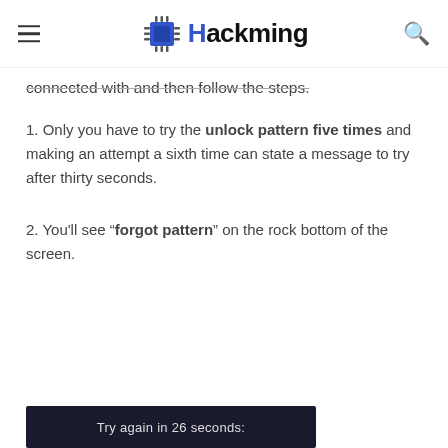Hackming
connected with and then follow the steps.
1. Only you have to try the unlock pattern five times and making an attempt a sixth time can state a message to try after thirty seconds.
2. You'll see “forgot pattern” on the rock bottom of the screen.
[Figure (screenshot): Screenshot showing 'Try again in 26 seconds:' message on a dark background]